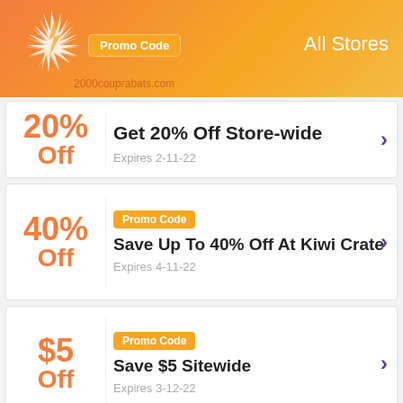Promo Code | All Stores
20% Off | Get 20% Off Store-wide | Expires 2-11-22
Promo Code | 40% Off | Save Up To 40% Off At Kiwi Crate | Expires 4-11-22
Promo Code | $5 Off | Save $5 Sitewide | Expires 3-12-22
Promo Code | 25% | First Month's Subscription